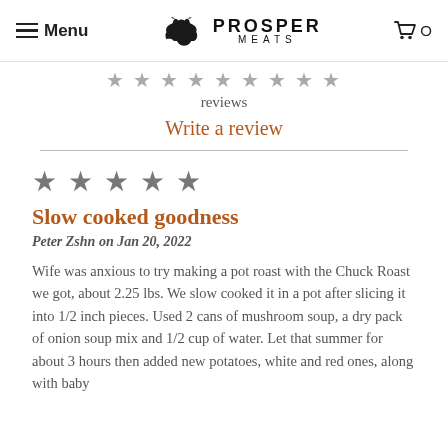Menu | PROSPER MEATS | 0
reviews
Write a review
Slow cooked goodness
Peter Zshn on Jan 20, 2022
Wife was anxious to try making a pot roast with the Chuck Roast we got, about 2.25 lbs. We slow cooked it in a pot after slicing it into 1/2 inch pieces. Used 2 cans of mushroom soup, a dry pack of onion soup mix and 1/2 cup of water. Let that summer for about 3 hours then added new potatoes, white and red ones, along with baby